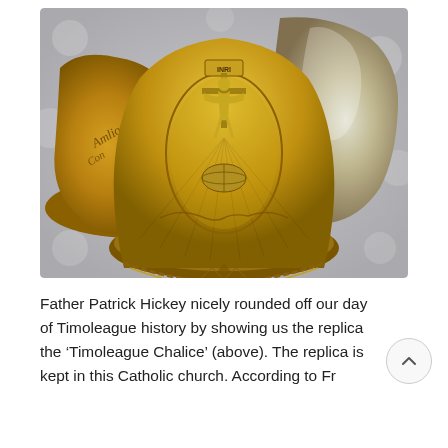[Figure (photo): Close-up photograph of a golden brass chalice bottom showing an engraved crucifixion scene with INRI inscription, surrounded by decorative rope border, with other chalice parts visible behind it on a grey patterned fabric.]
Father Patrick Hickey nicely rounded off our day of Timoleague history by showing us the replica the ‘Timoleague Chalice’ (above). The replica is kept in this Catholic church. According to Fr Hickey, the date in the engraved base of the...